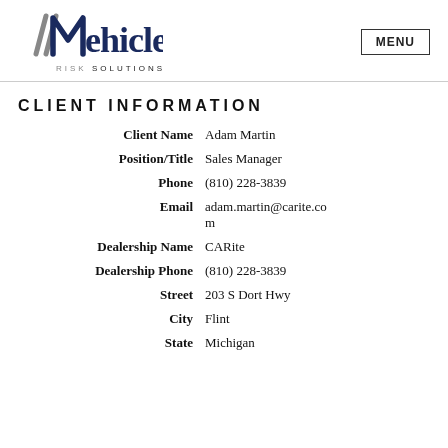Vehicle Risk Solutions — MENU
CLIENT INFORMATION
| Field | Value |
| --- | --- |
| Client Name | Adam Martin |
| Position/Title | Sales Manager |
| Phone | (810) 228-3839 |
| Email | adam.martin@carite.com |
| Dealership Name | CARite |
| Dealership Phone | (810) 228-3839 |
| Street | 203 S Dort Hwy |
| City | Flint |
| State | Michigan |